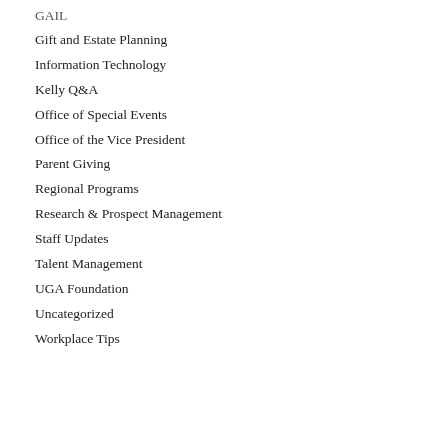GAIL
Gift and Estate Planning
Information Technology
Kelly Q&A
Office of Special Events
Office of the Vice President
Parent Giving
Regional Programs
Research & Prospect Management
Staff Updates
Talent Management
UGA Foundation
Uncategorized
Workplace Tips